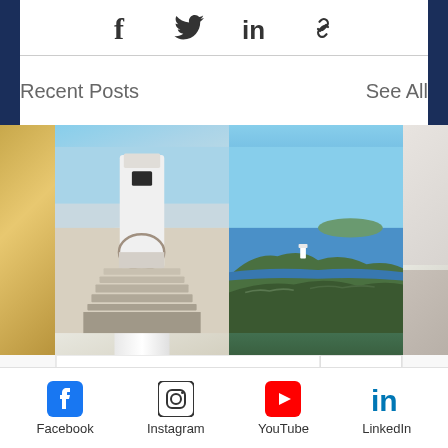[Figure (infographic): Social share icons row: Facebook f, Twitter bird, LinkedIn in, link/chain icon]
Recent Posts
See All
[Figure (photo): Two photos of Cape D'Aguilar Lighthouse: left photo shows close-up of white lighthouse tower from below; right photo shows distant view of lighthouse on rocky green cliff by the sea. Partial images on far left and far right edges.]
Cape D'Aguilar Lighthouse
Facebook  Instagram  YouTube  LinkedIn